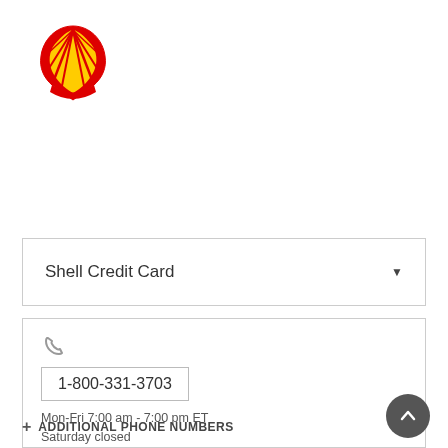[Figure (logo): Shell logo: red and yellow pecten shell emblem]
Shell Credit Card ▼
☎ 1-800-331-3703
Mon-Fri 7:00 am - 7:00 pm ET
Saturday closed
Sunday closed
+ ADDITIONAL PHONE NUMBERS